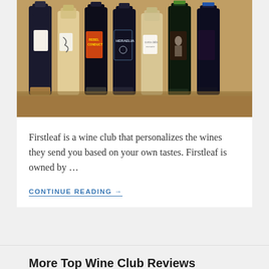[Figure (photo): Multiple wine bottles of various colors (red and white wines) lined up on a wooden surface, showing different labels including Heraelia and other wine brands.]
Firstleaf is a wine club that personalizes the wines they send you based on your own tastes. Firstleaf is owned by …
CONTINUE READING →
More Top Wine Club Reviews
Firstleaf Review